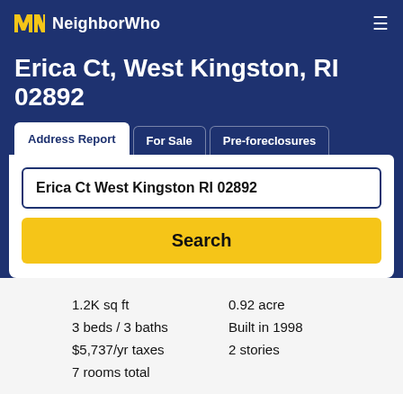NeighborWho
Erica Ct, West Kingston, RI 02892
Address Report | For Sale | Pre-foreclosures
Erica Ct West Kingston RI 02892
Search
1.2K sq ft
3 beds / 3 baths
$5,737/yr taxes
7 rooms total
0.92 acre
Built in 1998
2 stories